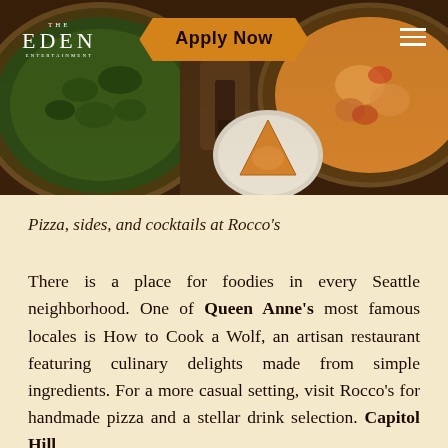[Figure (photo): Hero image showing pizza dishes and cocktails at Rocco's restaurant, with The Eden logo on the left, an orange 'Apply Now' banner in the center, and a hamburger menu icon on the right.]
Pizza, sides, and cocktails at Rocco's
There is a place for foodies in every Seattle neighborhood. One of Queen Anne's most famous locales is How to Cook a Wolf, an artisan restaurant featuring culinary delights made from simple ingredients. For a more casual setting, visit Rocco's for handmade pizza and a stellar drink selection. Capitol Hill